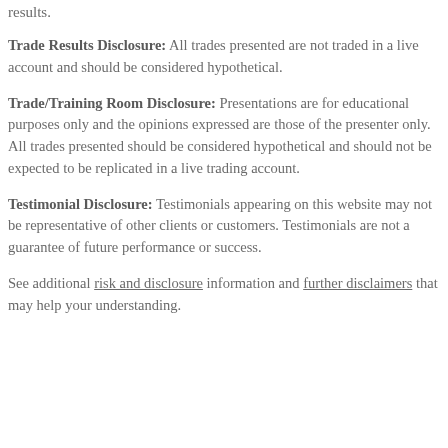results.
Trade Results Disclosure: All trades presented are not traded in a live account and should be considered hypothetical.
Trade/Training Room Disclosure: Presentations are for educational purposes only and the opinions expressed are those of the presenter only. All trades presented should be considered hypothetical and should not be expected to be replicated in a live trading account.
Testimonial Disclosure: Testimonials appearing on this website may not be representative of other clients or customers. Testimonials are not a guarantee of future performance or success.
See additional risk and disclosure information and further disclaimers that may help your understanding.